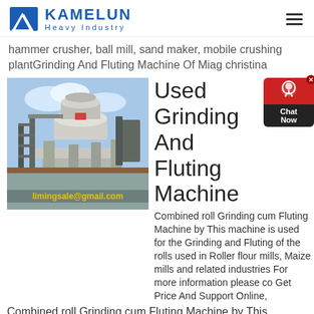KAMELUN Heavy Industry
hammer crusher, ball mill, sand maker, mobile crushing plantGrinding And Fluting Machine Of Miag christina
[Figure (photo): Industrial grinding machine (vertical shaft impact crusher) photographed outdoors against a blue sky. Email overlay reads limingsale@gmail.com at the bottom.]
Used Grinding And Fluting Machine
Combined roll Grinding cum Fluting Machine by This machine is used for the Grinding and Fluting of the rolls used in Roller flour mills, Maize mills and related industries For more information please co Get Price And Support Online,